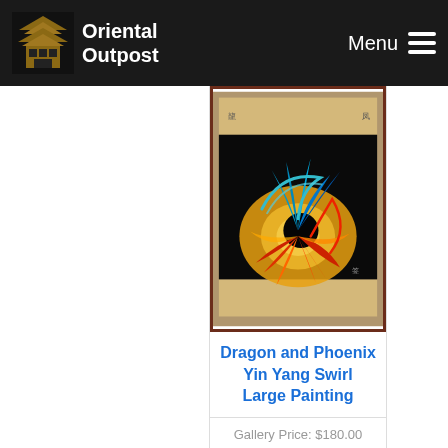Oriental Outpost | Menu
[Figure (photo): A hanging scroll painting depicting a Dragon and Phoenix in a Yin Yang swirl pattern with blue, red, orange, and black colors on a gold/beige background, mounted in a dark red/brown frame.]
Dragon and Phoenix Yin Yang Swirl Large Painting
Gallery Price: $180.00
Starting at: $99.88